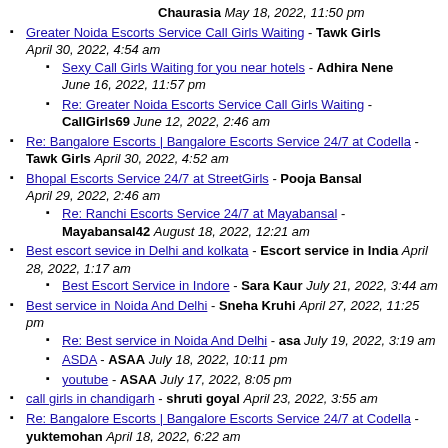Chaurasia May 18, 2022, 11:50 pm
Greater Noida Escorts Service Call Girls Waiting - Tawk Girls April 30, 2022, 4:54 am
Sexy Call Girls Waiting for you near hotels - Adhira Nene June 16, 2022, 11:57 pm
Re: Greater Noida Escorts Service Call Girls Waiting - CallGirls69 June 12, 2022, 2:46 am
Re: Bangalore Escorts | Bangalore Escorts Service 24/7 at Codella - Tawk Girls April 30, 2022, 4:52 am
Bhopal Escorts Service 24/7 at StreetGirls - Pooja Bansal April 29, 2022, 2:46 am
Re: Ranchi Escorts Service 24/7 at Mayabansal - Mayabansal42 August 18, 2022, 12:21 am
Best escort sevice in Delhi and kolkata - Escort service in India April 28, 2022, 1:17 am
Best Escort Service in Indore - Sara Kaur July 21, 2022, 3:44 am
Best service in Noida And Delhi - Sneha Kruhi April 27, 2022, 11:25 pm
Re: Best service in Noida And Delhi - asa July 19, 2022, 3:19 am
ASDA - ASAA July 18, 2022, 10:11 pm
youtube - ASAA July 17, 2022, 8:05 pm
call girls in chandigarh - shruti goyal April 23, 2022, 3:55 am
Re: Bangalore Escorts | Bangalore Escorts Service 24/7 at Codella - yuktemohan April 18, 2022, 6:22 am
Re: Bangalore Independent Escorts - Anamika Sharma June 28, 2022, 6:34 am
Re: Bangalore Independent Escorts - Delhi escorts August 9, 2022, 3:57 am